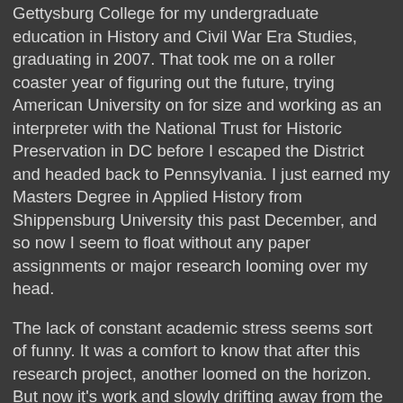Gettysburg College for my undergraduate education in History and Civil War Era Studies, graduating in 2007. That took me on a roller coaster year of figuring out the future, trying American University on for size and working as an interpreter with the National Trust for Historic Preservation in DC before I escaped the District and headed back to Pennsylvania. I just earned my Masters Degree in Applied History from Shippensburg University this past December, and so now I seem to float without any paper assignments or major research looming over my head.
The lack of constant academic stress seems sort of funny. It was a comfort to know that after this research project, another loomed on the horizon. But now it's work and slowly drifting away from the field of 'straight-up' history and into the messy world of interpretive theory and training. I miss my academic research safety blanket.
Which is where you come in, dear reader. I need an outlet for my historical stresses. Some of them are research based. Some of them are beefs with public history theory. Some of them are prodding at the system to see what shakes free.